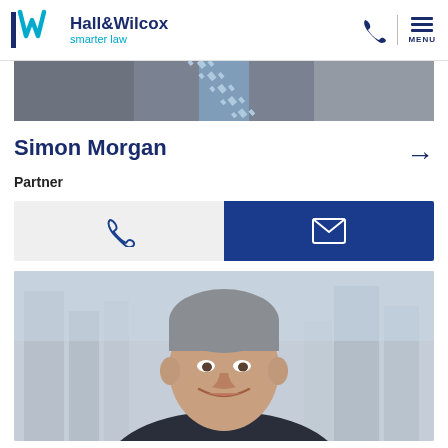Hall&Wilcox smarter law
[Figure (photo): Partial top image showing people in business attire with a striped tie visible]
Simon Morgan
Partner
[Figure (infographic): Two contact buttons: phone icon on light grey background, email/envelope icon on dark blue background]
[Figure (photo): Professional headshot of Simon Morgan, a middle-aged man with grey hair, smiling, with a blurred city skyline in the background]